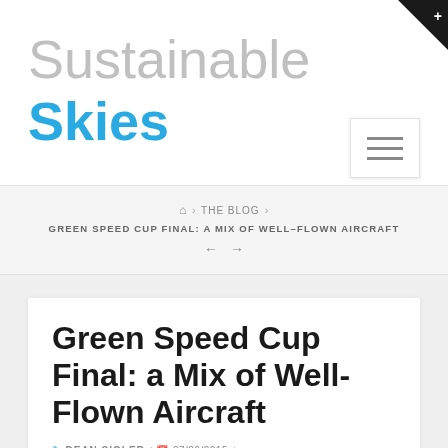Sustainable Skies
HOME › THE BLOG › GREEN SPEED CUP FINAL: A MIX OF WELL-FLOWN AIRCRAFT ← →
Green Speed Cup Final: a Mix of Well-Flown Aircraft
DEAN SIGLER / 07/06/2015 /
ELECTRIC POWERPLANTS, GFC, SUSTAINABLE AVIATION /